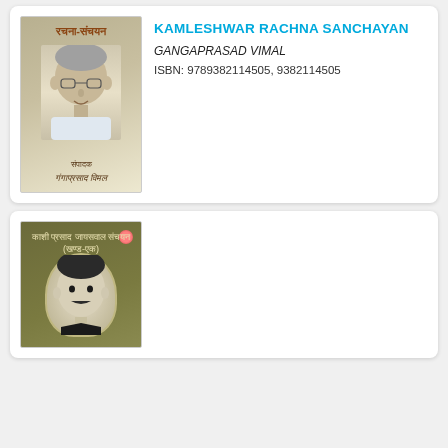[Figure (photo): Book cover of Kamleshwar Rachna Sanchayan showing an elderly man with glasses, text in Hindi at top and bottom]
KAMLESHWAR RACHNA SANCHAYAN
GANGAPRASAD VIMAL
ISBN: 9789382114505, 9382114505
[Figure (photo): Book cover of Kashi Prasad Jayaswal Sanchayan (Khand-Ek) showing a man's portrait in a circular frame on olive/dark green background]